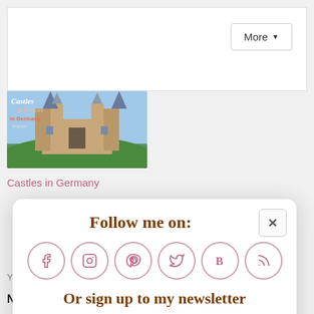[Figure (screenshot): Top white bar area with a 'More' dropdown button in the top right corner]
[Figure (photo): Castle image thumbnail labeled 'Castles & Palaces in Germany' showing a medieval castle against a blue sky]
Castles in Germany
[Figure (infographic): Modal popup saying 'Follow me on:' with social media icons for Facebook, Instagram, Pinterest, Twitter, Bloglovin, RSS, and a newsletter signup field with Subscribe input and Sign Up! button]
Your email address will not be published.
Name *